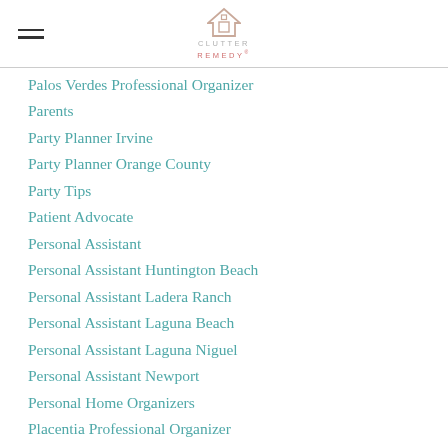Clutter Remedy logo and navigation menu icon
Palos Verdes Professional Organizer
Parents
Party Planner Irvine
Party Planner Orange County
Party Tips
Patient Advocate
Personal Assistant
Personal Assistant Huntington Beach
Personal Assistant Ladera Ranch
Personal Assistant Laguna Beach
Personal Assistant Laguna Niguel
Personal Assistant Newport
Personal Home Organizers
Placentia Professional Organizer
Planners And Organizers
Plant Based Diets
Professional Coach Orange